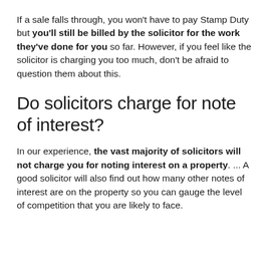If a sale falls through, you won't have to pay Stamp Duty but you'll still be billed by the solicitor for the work they've done for you so far. However, if you feel like the solicitor is charging you too much, don't be afraid to question them about this.
Do solicitors charge for note of interest?
In our experience, the vast majority of solicitors will not charge you for noting interest on a property. ... A good solicitor will also find out how many other notes of interest are on the property so you can gauge the level of competition that you are likely to face.